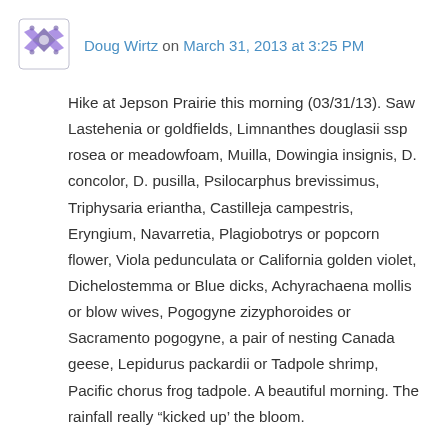Doug Wirtz on March 31, 2013 at 3:25 PM
Hike at Jepson Prairie this morning (03/31/13). Saw Lastehenia or goldfields, Limnanthes douglasii ssp rosea or meadowfoam, Muilla, Dowingia insignis, D. concolor, D. pusilla, Psilocarphus brevissimus, Triphysaria eriantha, Castilleja campestris, Eryngium, Navarretia, Plagiobotrys or popcorn flower, Viola pedunculata or California golden violet, Dichelostemma or Blue dicks, Achyrachaena mollis or blow wives, Pogogyne zizyphoroides or Sacramento pogogyne, a pair of nesting Canada geese, Lepidurus packardii or Tadpole shrimp, Pacific chorus frog tadpole. A beautiful morning. The rainfall really “kicked up’ the bloom.